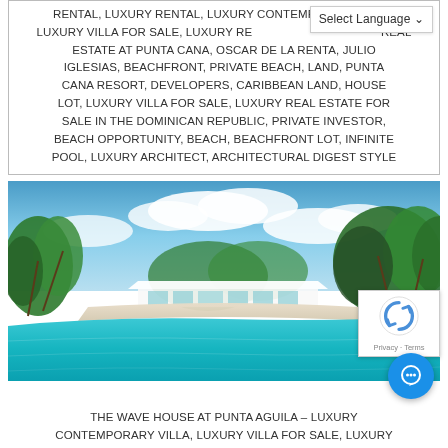RENTAL, LUXURY RENTAL, LUXURY CONTEMPORARY VILLA, LUXURY VILLA FOR SALE, LUXURY REAL ESTATE FOR SALE, REAL ESTATE AT PUNTA CANA, OSCAR DE LA RENTA, JULIO IGLESIAS, BEACHFRONT, PRIVATE BEACH, LAND, PUNTA CANA RESORT, DEVELOPERS, CARIBBEAN LAND, HOUSE LOT, LUXURY VILLA FOR SALE, LUXURY REAL ESTATE FOR SALE IN THE DOMINICAN REPUBLIC, PRIVATE INVESTOR, BEACH OPPORTUNITY, BEACH, BEACHFRONT LOT, INFINITE POOL, LUXURY ARCHITECT, ARCHITECTURAL DIGEST STYLE
[Figure (photo): Aerial or ground-level view of a luxury contemporary villa with a large turquoise infinity pool in the foreground, white-roofed building in the middle, and lush tropical palm trees and greenery surrounding it under a blue sky with clouds.]
THE WAVE HOUSE AT PUNTA AGUILA – LUXURY CONTEMPORARY VILLA, LUXURY VILLA FOR SALE, LUXURY